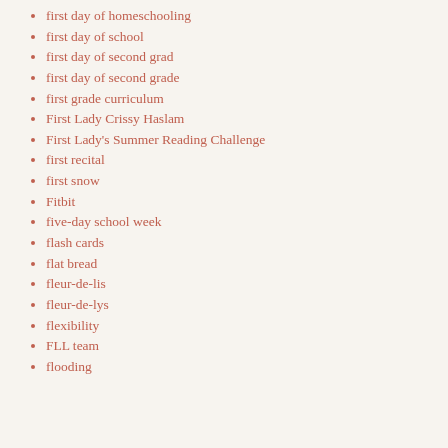first day of homeschooling
first day of school
first day of second grad
first day of second grade
first grade curriculum
First Lady Crissy Haslam
First Lady's Summer Reading Challenge
first recital
first snow
Fitbit
five-day school week
flash cards
flat bread
fleur-de-lis
fleur-de-lys
flexibility
FLL team
flooding